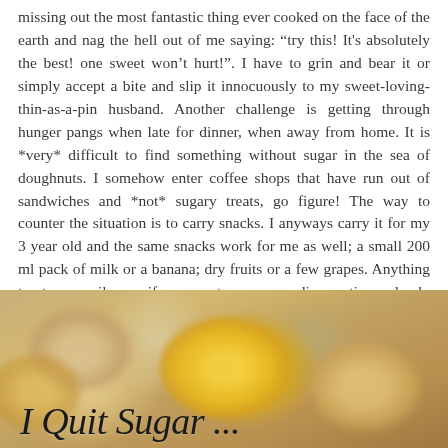missing out the most fantastic thing ever cooked on the face of the earth and nag the hell out of me saying: “try this! It's absolutely the best! one sweet won’t hurt!”. I have to grin and bear it or simply accept a bite and slip it innocuously to my sweet-loving-thin-as-a-pin husband. Another challenge is getting through hunger pangs when late for dinner, when away from home. It is *very* difficult to find something without sugar in the sea of doughnuts. I somehow enter coffee shops that have run out of sandwiches and *not* sugary treats, go figure! The way to counter the situation is to carry snacks. I anyways carry it for my 3 year old and the same snacks work for me as well; a small 200 ml pack of milk or a banana; dry fruits or a few grapes. Anything to temporarily pacify your tummy as dinner time slowly approaches.
[Figure (photo): Blurred photo of yellow macarons/doughnuts with the cursive text 'I Quit Sugar ...' overlaid in the lower left portion of the image]